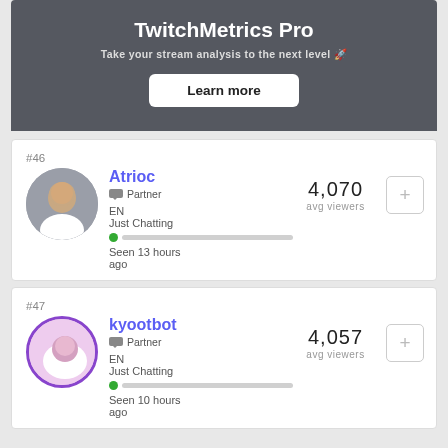TwitchMetrics Pro
Take your stream analysis to the next level 🚀
Learn more
#46
Atrioc
Partner
EN
Just Chatting
Seen 13 hours ago
4,070
avg viewers
#47
kyootbot
Partner
EN
Just Chatting
Seen 10 hours ago
4,057
avg viewers